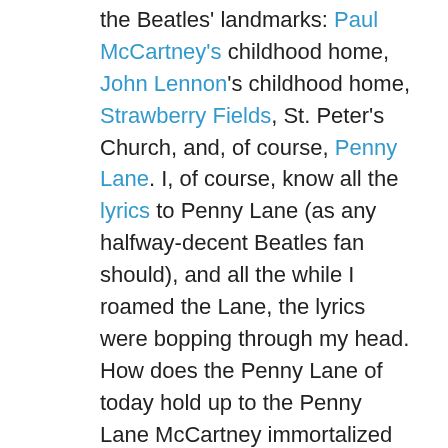the Beatles' landmarks: Paul McCartney's childhood home, John Lennon's childhood home, Strawberry Fields, St. Peter's Church, and, of course, Penny Lane. I, of course, know all the lyrics to Penny Lane (as any halfway-decent Beatles fan should), and all the while I roamed the Lane, the lyrics were bopping through my head. How does the Penny Lane of today hold up to the Penny Lane McCartney immortalized in song? Well, let's have a look at the lyrics.**
Verse #1:
In Penny Lane there is a barber showing photographs
Of every head he's had the pleasure to have known
And all the people that come and go